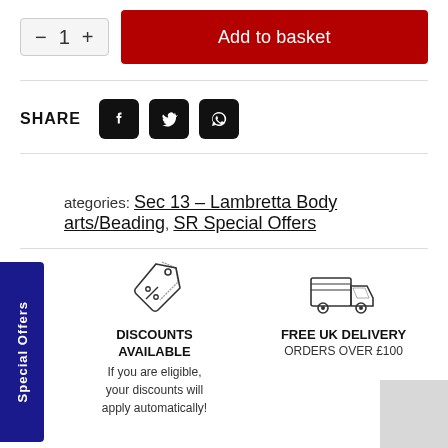– 1 + | Add to basket
SHARE
[Figure (illustration): Social share icons: Facebook, Twitter, WhatsApp]
Special Offers
Categories: Sec 13 – Lambretta Body Parts/Beading, SR Special Offers
[Figure (illustration): Discount tag icon with percentage symbols]
[Figure (illustration): Delivery truck icon]
DISCOUNTS AVAILABLE
If you are eligible, your discounts will apply automatically!
FREE UK DELIVERY
ORDERS OVER £100